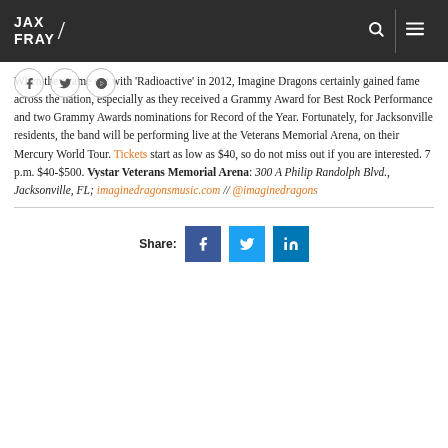JAX FRAY / [search] [menu]
When they came out with 'Radioactive' in 2012, Imagine Dragons certainly gained fame across the nation, especially as they received a Grammy Award for Best Rock Performance and two Grammy Awards nominations for Record of the Year. Fortunately, for Jacksonville residents, the band will be performing live at the Veterans Memorial Arena, on their Mercury World Tour. Tickets start as low as $40, so do not miss out if you are interested. 7 p.m. $40-$500. Vystar Veterans Memorial Arena: 300 A Philip Randolph Blvd., Jacksonville, FL; imaginedragonsmusic.com // @imaginedragons